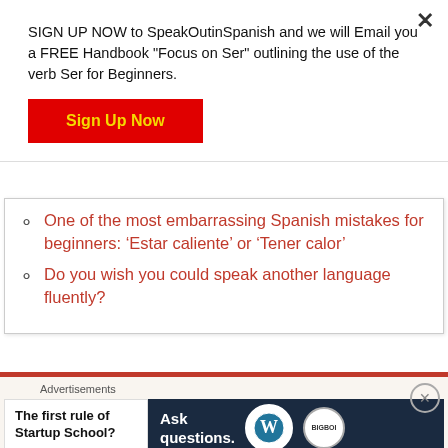SIGN UP NOW to SpeakOutinSpanish and we will Email you a FREE Handbook "Focus on Ser" outlining the use of the verb Ser for Beginners.
Sign Up Now
One of the most embarrassing Spanish mistakes for beginners: ‘Estar caliente’ or ‘Tener calor’
Do you wish you could speak another language fluently?
[Figure (screenshot): Advertisement banner showing 'The first rule of Startup School?' on left and 'Ask questions.' with WordPress logo on right dark background]
Advertisements